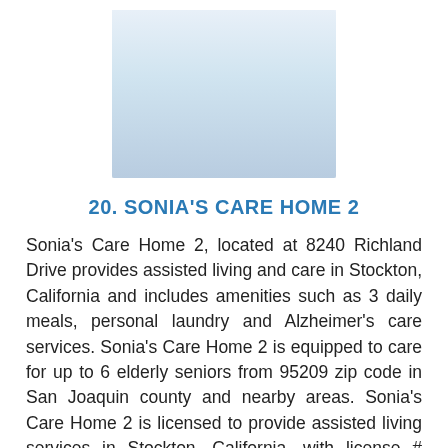[Figure (photo): Photo of an elderly woman in a wheelchair with a younger caregiver woman standing behind her smiling, in a bright home setting with plants and furniture.]
20. SONIA'S CARE HOME 2
Sonia's Care Home 2, located at 8240 Richland Drive provides assisted living and care in Stockton, California and includes amenities such as 3 daily meals, personal laundry and Alzheimer's care services. Sonia's Care Home 2 is equipped to care for up to 6 elderly seniors from 95209 zip code in San Joaquin county and nearby areas. Sonia's Care Home 2 is licensed to provide assisted living services in Stockton, California, with license # 397005071.